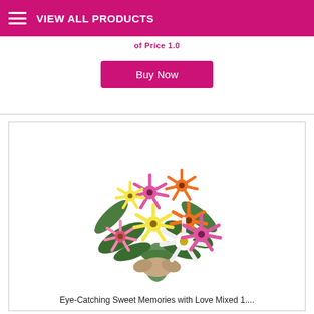VIEW ALL PRODUCTS
Buy Now
[Figure (photo): Colorful mixed gerbera daisy bouquet with pink, orange, yellow, and white flowers, tied with a ribbon, on white background]
Eye-Catching Sweet Memories with Love Mixed 1....